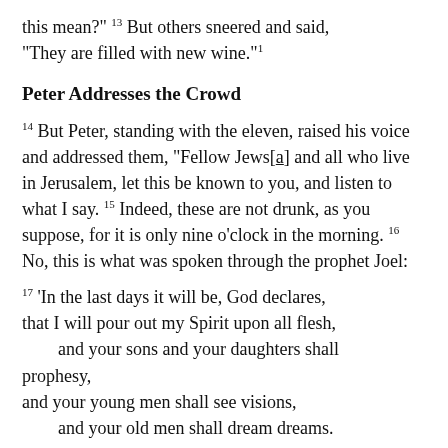this mean?” ¹⁵ But others sneered and said, “They are filled with new wine.”¹
Peter Addresses the Crowd
¹⁴ But Peter, standing with the eleven, raised his voice and addressed them, “Fellow Jews[a] and all who live in Jerusalem, let this be known to you, and listen to what I say. ¹⁵ Indeed, these are not drunk, as you suppose, for it is only nine o’clock in the morning. ¹⁶ No, this is what was spoken through the prophet Joel:
¹⁷ ‘In the last days it will be, God declares, that I will pour out my Spirit upon all flesh, and your sons and your daughters shall prophesy, and your young men shall see visions, and your old men shall dream dreams.